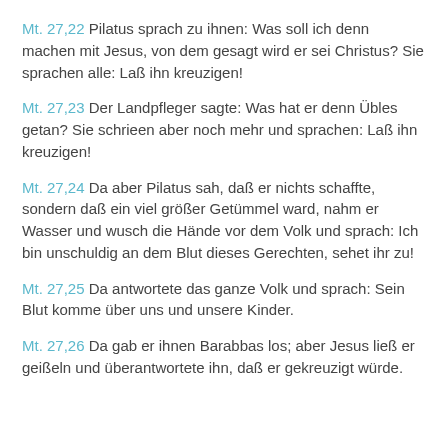Mt. 27,22 Pilatus sprach zu ihnen: Was soll ich denn machen mit Jesus, von dem gesagt wird er sei Christus? Sie sprachen alle: Laß ihn kreuzigen!
Mt. 27,23 Der Landpfleger sagte: Was hat er denn Übles getan? Sie schrieen aber noch mehr und sprachen: Laß ihn kreuzigen!
Mt. 27,24 Da aber Pilatus sah, daß er nichts schaffte, sondern daß ein viel größer Getümmel ward, nahm er Wasser und wusch die Hände vor dem Volk und sprach: Ich bin unschuldig an dem Blut dieses Gerechten, sehet ihr zu!
Mt. 27,25 Da antwortete das ganze Volk und sprach: Sein Blut komme über uns und unsere Kinder.
Mt. 27,26 Da gab er ihnen Barabbas los; aber Jesus ließ er geißeln und überantwortete ihn, daß er gekreuzigt würde.